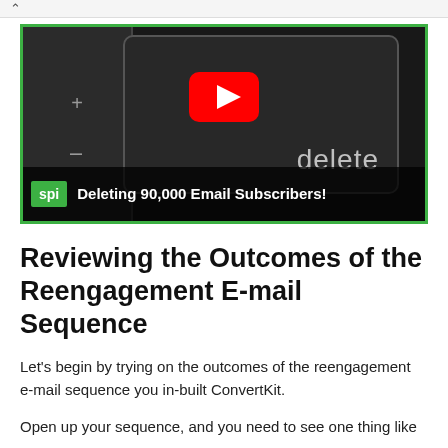[Figure (screenshot): YouTube video thumbnail showing a computer keyboard close-up with a 'delete' key, a YouTube play button overlay, SPI logo badge, and title text 'Deleting 90,000 Email Subscribers!' on a dark banner. Green border around the thumbnail.]
Reviewing the Outcomes of the Reengagement E-mail Sequence
Let's begin by trying on the outcomes of the reengagement e-mail sequence you in-built ConvertKit.
Open up your sequence, and you need to see one thing like